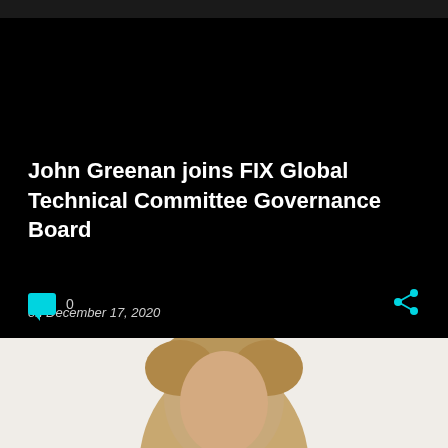John Greenan joins FIX Global Technical Committee Governance Board
on December 17, 2020
0
[Figure (photo): Portrait photo of John Greenan, showing head and shoulders with blonde/brown hair against a light background]